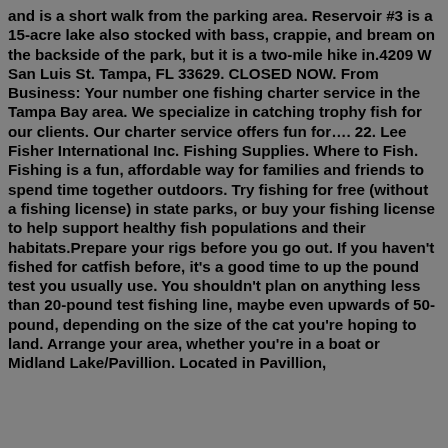and is a short walk from the parking area. Reservoir #3 is a 15-acre lake also stocked with bass, crappie, and bream on the backside of the park, but it is a two-mile hike in.4209 W San Luis St. Tampa, FL 33629. CLOSED NOW. From Business: Your number one fishing charter service in the Tampa Bay area. We specialize in catching trophy fish for our clients. Our charter service offers fun for…. 22. Lee Fisher International Inc. Fishing Supplies. Where to Fish. Fishing is a fun, affordable way for families and friends to spend time together outdoors. Try fishing for free (without a fishing license) in state parks, or buy your fishing license to help support healthy fish populations and their habitats.Prepare your rigs before you go out. If you haven't fished for catfish before, it's a good time to up the pound test you usually use. You shouldn't plan on anything less than 20-pound test fishing line, maybe even upwards of 50-pound, depending on the size of the cat you're hoping to land. Arrange your area, whether you're in a boat or Midland Lake/Pavillion. Located in Pavillion,